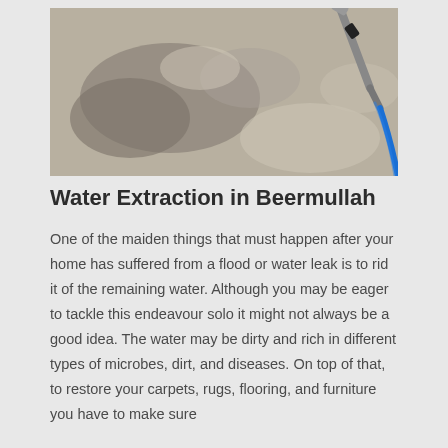[Figure (photo): A carpet being cleaned with a water extraction hose/wand tool. The carpet shows wet and dry areas, with a blue hose and metal wand visible on the right side.]
Water Extraction in Beermullah
One of the maiden things that must happen after your home has suffered from a flood or water leak is to rid it of the remaining water. Although you may be eager to tackle this endeavour solo it might not always be a good idea. The water may be dirty and rich in different types of microbes, dirt, and diseases. On top of that, to restore your carpets, rugs, flooring, and furniture you have to make sure